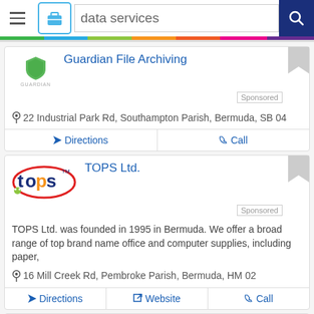[Figure (screenshot): Search bar with hamburger menu, briefcase category icon, 'data services' search text, and blue search button]
Guardian File Archiving
Sponsored
22 Industrial Park Rd, Southampton Parish, Bermuda, SB 04
Directions
Call
TOPS Ltd.
Sponsored
TOPS Ltd. was founded in 1995 in Bermuda. We offer a broad range of top brand name office and computer supplies, including paper,
16 Mill Creek Rd, Pembroke Parish, Bermuda, HM 02
Directions
Website
Call
Guardian Data Solutions Ltd.
Sponsored